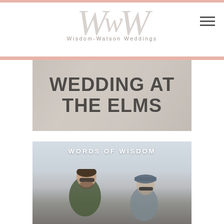Wisdom-Watson Weddings
[Figure (photo): Wedding at The Elms - large text overlay on a light grey/beige photo background showing partial figures in background]
[Figure (photo): Words of Wisdom - couple outdoors, man with beard wearing green shirt and sunglasses, woman wearing cap and sunglasses, mountains and overcast sky in background]